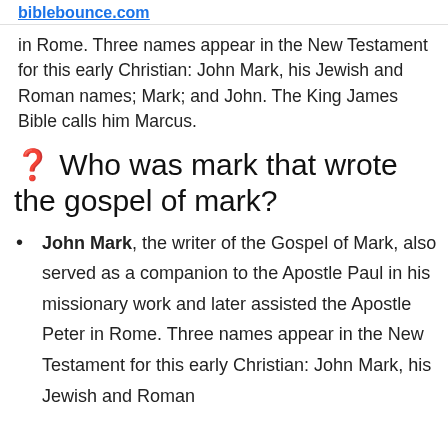biblebounce.com
in Rome. Three names appear in the New Testament for this early Christian: John Mark, his Jewish and Roman names; Mark; and John. The King James Bible calls him Marcus.
❓ Who was mark that wrote the gospel of mark?
John Mark, the writer of the Gospel of Mark, also served as a companion to the Apostle Paul in his missionary work and later assisted the Apostle Peter in Rome. Three names appear in the New Testament for this early Christian: John Mark, his Jewish and Roman